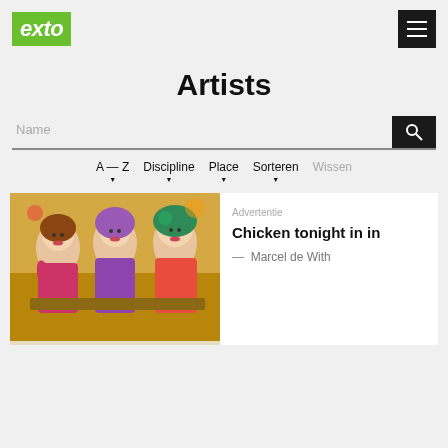exto
Artists
Name (search input)
A — Z
Discipline
Place
Sorteren
Wissen
[Figure (illustration): Colorful painting of three women seated together, stylized art with warm tones]
Advertentie
Chicken tonight in in
— Marcel de With